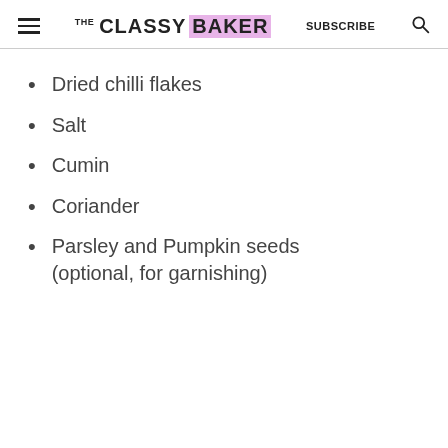THE CLASSY BAKER  SUBSCRIBE
Dried chilli flakes
Salt
Cumin
Coriander
Parsley and Pumpkin seeds (optional, for garnishing)